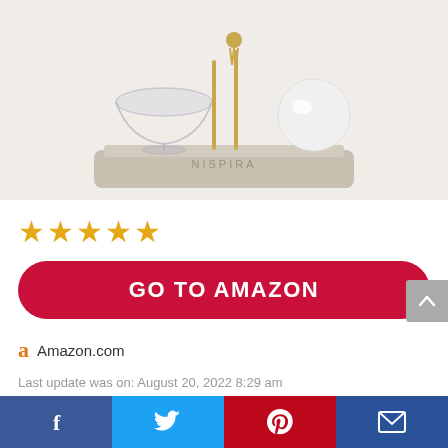[Figure (photo): NISPIRA syphon coffee maker product photo showing glass vessel on a beige/tan base with gold accents and a white globe]
[Figure (other): 5 gold/orange star rating icons]
GO TO AMAZON
Amazon.com
Last update was on: August 20, 2022 8:29 am
NISPIRA Syphon Coffee Maker for 3-5 Espresso
[Figure (other): Social sharing bar at the bottom with Facebook, Twitter, Pinterest, and Email buttons]